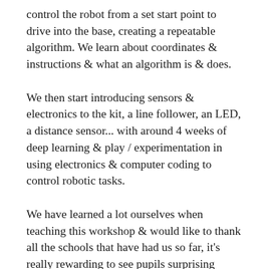control the robot from a set start point to drive into the base, creating a repeatable algorithm. We learn about coordinates & instructions & what an algorithm is & does.
We then start introducing sensors & electronics to the kit, a line follower, an LED, a distance sensor... with around 4 weeks of deep learning & play / experimentation in using electronics & computer coding to control robotic tasks.
We have learned a lot ourselves when teaching this workshop & would like to thank all the schools that have had us so far, it's really rewarding to see pupils surprising themselves with what they are capable of & enjoying